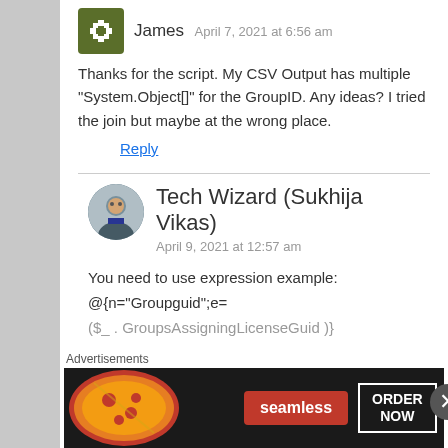James  April 7, 2021 at 6:56 am
Thanks for the script. My CSV Output has multiple “System.Object[]” for the GroupID. Any ideas? I tried the join but maybe at the wrong place.
Reply
Tech Wizard (Sukhija Vikas)  April 9, 2021 at 12:57 am
You need to use expression example:
@{n=“Groupguid”;e=
($_ . GroupsAssigningLicenseGuid )}
Advertisements
[Figure (photo): Seamless food delivery advertisement banner showing pizza with Seamless logo and ORDER NOW button]